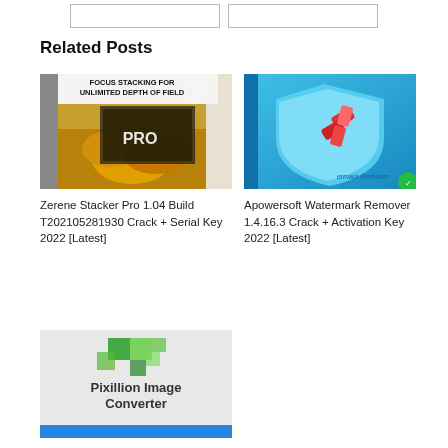Related Posts
[Figure (screenshot): Zerene Stacker Pro software box art showing 'FOCUS STACKING FOR UNLIMITED DEPTH OF FIELD PRO']
[Figure (screenshot): Apowersoft Watermark Remover software box art with blue shield and magnet logo]
Zerene Stacker Pro 1.04 Build T202105281930 Crack + Serial Key 2022 [Latest]
Apowersoft Watermark Remover 1.4.16.3 Crack + Activation Key 2022 [Latest]
[Figure (screenshot): Pixillion Image Converter software promotional image with green pixel icons and blue bar at bottom]
Pixillion Image Converter Plus 10.49 Crack With Serial